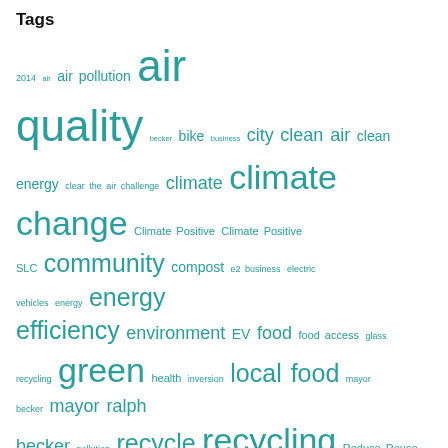Tags
2014 air air pollution air quality becker bike business city clean air clean energy clear the air challenge climate climate change Climate Positive Climate Positive SLC community compost e2 business electric vehicles energy energy efficiency environment EV food food access glass recycling green health inversion local food mayor becker mayor ralph becker pollution recycle recycling Reduce Reuse Recycle renewable energy rocky mountain power salt lake salt lake city slc slcgreen solar sustainability sustainable sustainable food transit transportation urban farming uta utah utah clean energy walk wasatch community gardens waste water